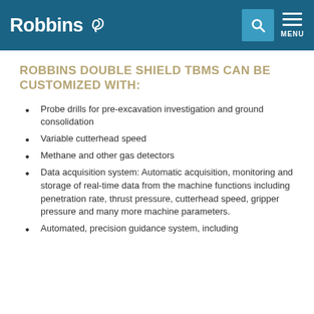Robbins [logo] | Search | MENU
ROBBINS DOUBLE SHIELD TBMS CAN BE CUSTOMIZED WITH:
Probe drills for pre-excavation investigation and ground consolidation
Variable cutterhead speed
Methane and other gas detectors
Data acquisition system: Automatic acquisition, monitoring and storage of real-time data from the machine functions including penetration rate, thrust pressure, cutterhead speed, gripper pressure and many more machine parameters.
Automated, precision guidance system, including